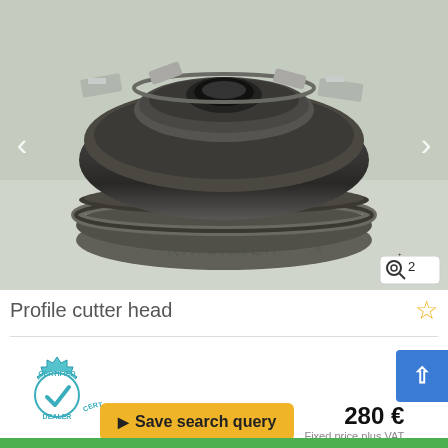[Figure (photo): Photo of a profile cutter head tool, dark metallic, circular shape with cutting inserts, on a light surface. Watermark reads KIRCHNER. Navigation arrows on left and right. Zoom badge showing magnifier icon and number 2 in bottom right.]
Profile cutter head
[Figure (logo): Certified Dealer badge: circular teal/blue gear-shaped badge with checkmark in center, text CERTIFIED on top arc and DEALER on bottom arc.]
Save search query
280 €
Fixed price plus VAT